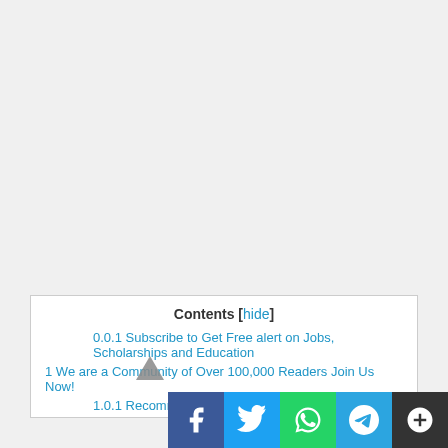Contents [hide]
0.0.1 Subscribe to Get Free alert on Jobs, Scholarships and Education
1 We are a Community of Over 100,000 Readers Join Us Now!
1.0.1 Recommended Links